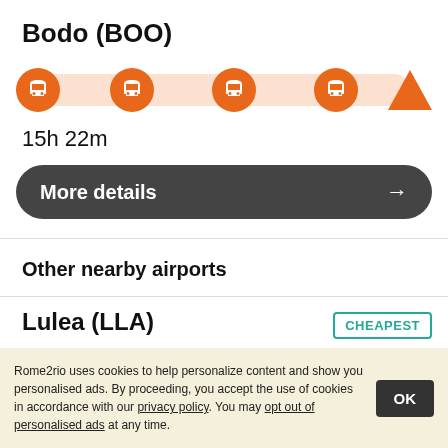Bodo (BOO)
[Figure (infographic): Route timeline bar showing 4 orange bus icons on a peach-colored track ending with an orange triangle]
15h 22m
More details →
Other nearby airports
Lulea (LLA)
CHEAPEST
[Figure (infographic): Route timeline bar showing orange car icon on a yellow track ending with an orange triangle]
Rome2rio uses cookies to help personalize content and show you personalised ads. By proceeding, you accept the use of cookies in accordance with our privacy policy. You may opt out of personalised ads at any time.